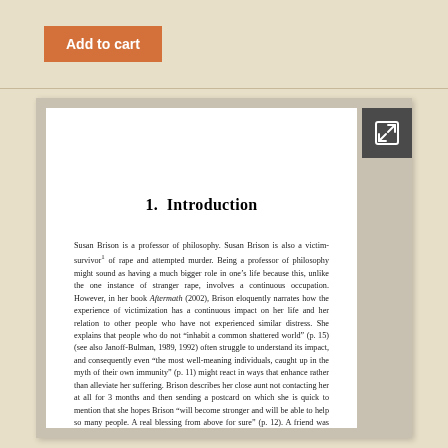Add to cart
1.  Introduction
Susan Brison is a professor of philosophy. Susan Brison is also a victim-survivor¹ of rape and attempted murder. Being a professor of philosophy might sound as having a much bigger role in one’s life because this, unlike the one instance of stranger rape, involves a continuous occupation. However, in her book Aftermath (2002), Brison eloquently narrates how the experience of victimization has a continuous impact on her life and her relation to other people who have not experienced similar distress. She explains that people who do not “inhabit a common shattered world” (p. 15) (see also Janoff-Bulman, 1989, 1992) often struggle to understand its impact, and consequently even “the most well-meaning individuals, caught up in the myth of their own immunity” (p. 11) might react in ways that enhance rather than alleviate her suffering. Brison describes her close aunt not contacting her at all for 3 months and then sending a postcard on which she is quick to mention that she hopes Brison “will become stronger and will be able to help so many people. A real blessing from above for sure” (p. 12). A friend was keen to point out now that she had had “such extraordinary bad luck” (p. 12), the odds would most probably turn in her favor now. One of the professionals she contacted after her victimization to get legal advice made inappropriate comments that suggested that Brison had not been taking the right precautions and therefore could have prevented the